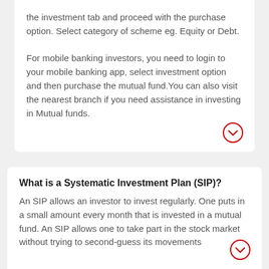the investment tab and proceed with the purchase option. Select category of scheme eg. Equity or Debt.

For mobile banking investors, you need to login to your mobile banking app, select investment option and then purchase the mutual fund. You can also visit the nearest branch if you need assistance in investing in Mutual funds.
What is a Systematic Investment Plan (SIP)?
An SIP allows an investor to invest regularly. One puts in a small amount every month that is invested in a mutual fund. An SIP allows one to take part in the stock market without trying to second-guess its movements